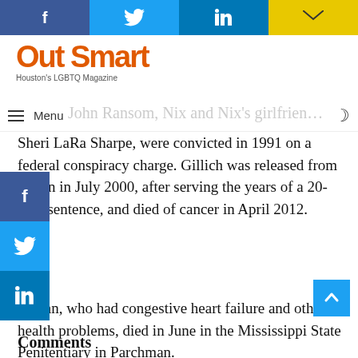[Figure (screenshot): Social media share buttons bar at top: Facebook (blue), Twitter (cyan), LinkedIn (blue), Email (yellow)]
[Figure (logo): Out Smart magazine logo - Houston's LGBTQ Magazine]
Menu
Next, John Ransom, Nix and Nix's girlfriend Sheri LaRa Sharpe, were convicted in 1991 on a federal conspiracy charge. Gillich was released from prison in July 2000, after serving the years of a 20-year sentence, and died of cancer in April 2012.
Fabian, who had congestive heart failure and other health problems, died in June in the Mississippi State Penitentiary in Parchman.
Comments